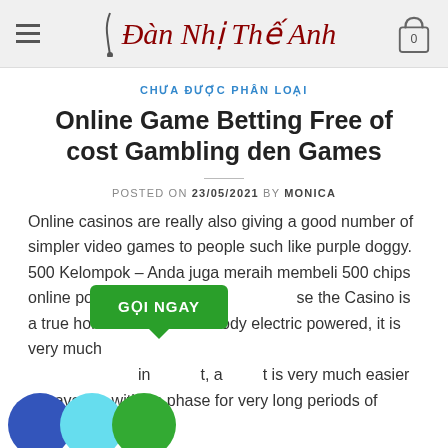Đàn Nhị Thế Anh
CHƯA ĐƯỢC PHÂN LOẠI
Online Game Betting Free of cost Gambling den Games
POSTED ON 23/05/2021 BY MONICA
Online casinos are really also giving a good number of simpler video games to people such like purple doggy. 500 Kelompok – Anda juga meraih membeli 500 chips online poker dadu d se the Casino is a true hollowed out entire body electric powered, it is very much in t, a t is very much easier to have fun with on phase for very long periods of period. In addition